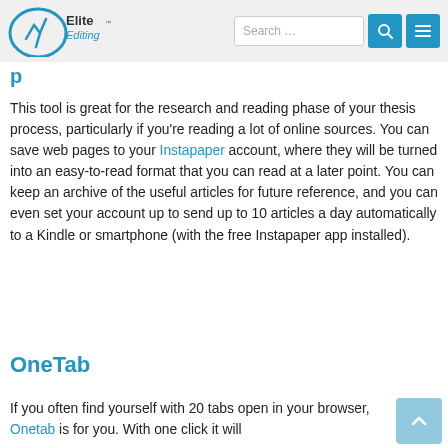Elite Editing — Search bar and navigation
Instapaper (partial, cut off at top)
This tool is great for the research and reading phase of your thesis process, particularly if you're reading a lot of online sources. You can save web pages to your Instapaper account, where they will be turned into an easy-to-read format that you can read at a later point. You can keep an archive of the useful articles for future reference, and you can even set your account up to send up to 10 articles a day automatically to a Kindle or smartphone (with the free Instapaper app installed).
OneTab
If you often find yourself with 20 tabs open in your browser, Onetab is for you. With one click it will